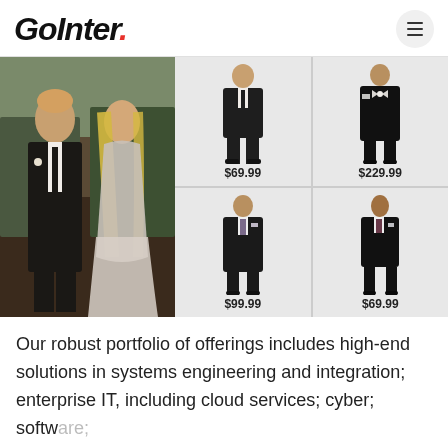GoInter.
[Figure (photo): Wedding couple: man in black tuxedo suit and woman in silver gown, outdoors at a wedding venue]
[Figure (photo): Young man in black suit, product photo, priced at $69.99]
[Figure (photo): Adult man in black tuxedo with bow tie, product photo, priced at $229.99]
[Figure (photo): Adult man in dark suit with tie, product photo, priced at $99.99]
[Figure (photo): Boy in black suit with tie, product photo, priced at $69.99]
Our robust portfolio of offerings includes high-end solutions in systems engineering and integration; enterprise IT, including cloud services; cyber; software; advanced analytics and simulation; and training. SAIC